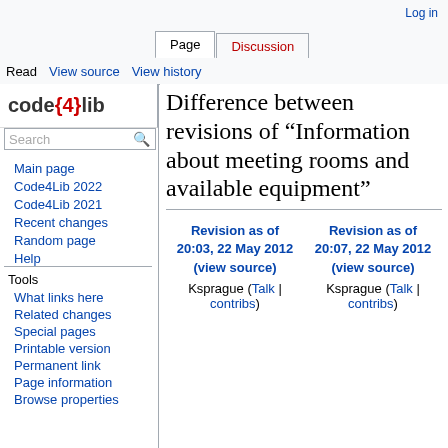Log in
Page | Discussion
Read | View source | View history
[Figure (logo): code{4}lib logo]
Difference between revisions of "Information about meeting rooms and available equipment"
| Revision as of 20:03, 22 May 2012 (view source) | Revision as of 20:07, 22 May 2012 (view source) |
| --- | --- |
| Ksprague (Talk | contribs) | Ksprague (Talk | contribs) |
Main page
Code4Lib 2022
Code4Lib 2021
Recent changes
Random page
Help
Tools
What links here
Related changes
Special pages
Printable version
Permanent link
Page information
Browse properties